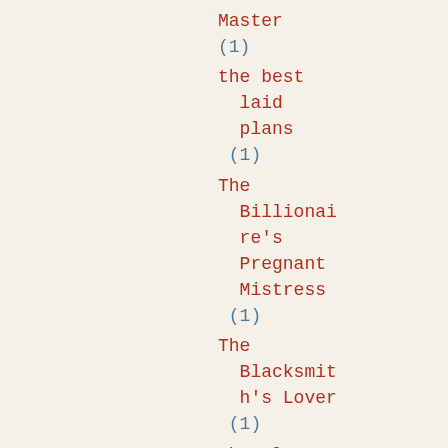Master (1)
the best laid plans (1)
The Billionaire's Pregnant Mistress (1)
The Blacksmith's Lover (1)
The Blue Viking (1)